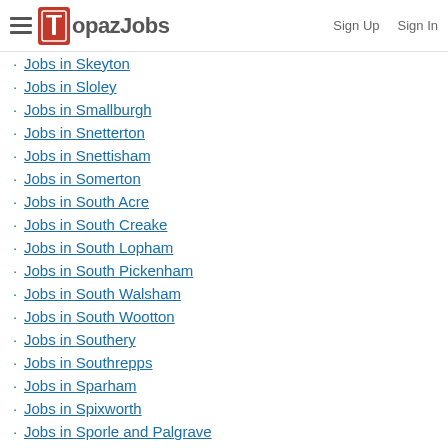TopazJobs — Sign Up | Sign In
Jobs in Skeyton
Jobs in Sloley
Jobs in Smallburgh
Jobs in Snetterton
Jobs in Snettisham
Jobs in Somerton
Jobs in South Acre
Jobs in South Creake
Jobs in South Lopham
Jobs in South Pickenham
Jobs in South Walsham
Jobs in South Wootton
Jobs in Southery
Jobs in Southrepps
Jobs in Sparham
Jobs in Spixworth
Jobs in Sporle and Palgrave
Jobs in Sprowston
Jobs in Stalham
Jobs in Stanfield